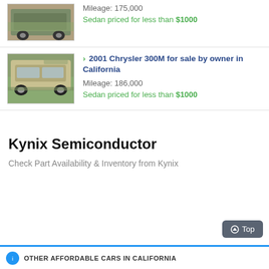[Figure (photo): Partial car thumbnail - dark green/teal sedan, top listing]
Mileage: 175,000
Sedan priced for less than $1000
[Figure (photo): Car thumbnail - silver/gold Chrysler 300M sedan]
> 2001 Chrysler 300M for sale by owner in California
Mileage: 186,000
Sedan priced for less than $1000
Kynix Semiconductor
Check Part Availability & Inventory from Kynix
Top
OTHER AFFORDABLE CARS IN CALIFORNIA